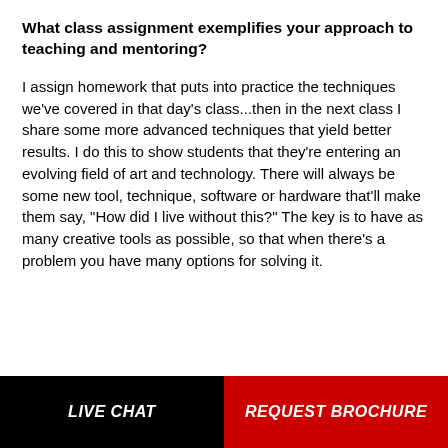What class assignment exemplifies your approach to teaching and mentoring?
I assign homework that puts into practice the techniques we've covered in that day's class...then in the next class I share some more advanced techniques that yield better results. I do this to show students that they're entering an evolving field of art and technology. There will always be some new tool, technique, software or hardware that'll make them say, "How did I live without this?" The key is to have as many creative tools as possible, so that when there's a problem you have many options for solving it.
LIVE CHAT | REQUEST BROCHURE